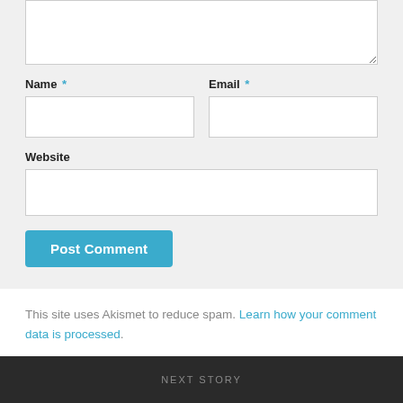[Figure (screenshot): Web comment form with textarea, Name field, Email field, Website field, and Post Comment button on a light grey background]
This site uses Akismet to reduce spam. Learn how your comment data is processed.
NEXT STORY
Arquitectura de Procesos de una base de datos Oracle